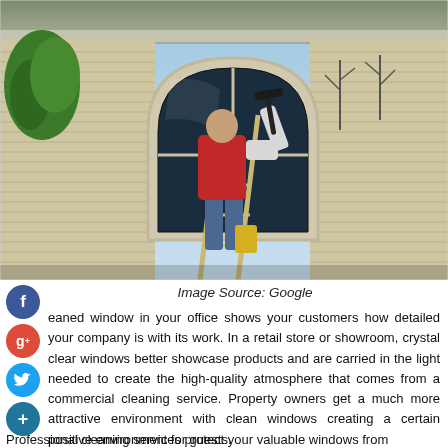[Figure (photo): A window cleaner in a red jacket standing on a ladder cleaning a large arched window on the exterior of a house with beige siding. A green tree is visible in the upper left corner against a blue sky.]
Image Source: Google
eaned window in your office shows your customers how detailed your company is with its work. In a retail store or showroom, crystal clear windows better showcase products and are carried in the light needed to create the high-quality atmosphere that comes from a commercial cleaning service. Property owners get a much more attractive environment with clean windows creating a certain positive environment for guests.
Professional cleaning services protect your valuable windows from